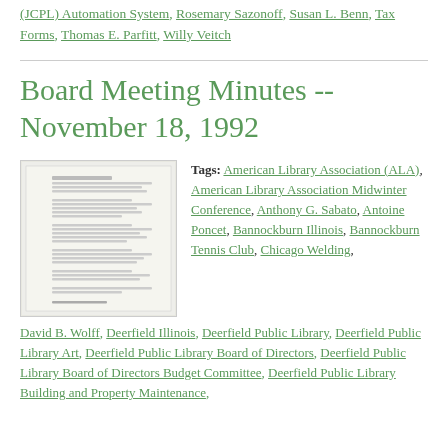(JCPL) Automation System, Rosemary Sazonoff, Susan L. Benn, Tax Forms, Thomas E. Parfitt, Willy Veitch
Board Meeting Minutes -- November 18, 1992
[Figure (photo): Thumbnail image of a scanned document page showing typed meeting minutes text]
Tags: American Library Association (ALA), American Library Association Midwinter Conference, Anthony G. Sabato, Antoine Poncet, Bannockburn Illinois, Bannockburn Tennis Club, Chicago Welding, David B. Wolff, Deerfield Illinois, Deerfield Public Library, Deerfield Public Library Art, Deerfield Public Library Board of Directors, Deerfield Public Library Board of Directors Budget Committee, Deerfield Public Library Building and Property Maintenance,